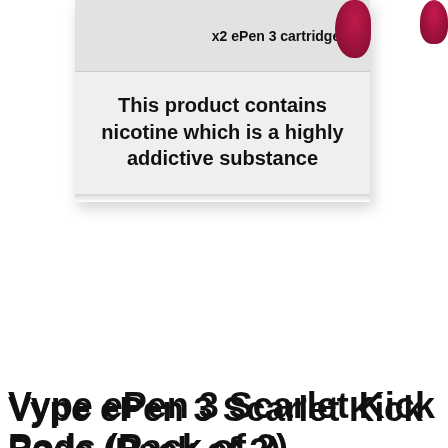[Figure (photo): Product photo of Vype ePen 3 Scarlet Kick Pods packaging. White box with grey top strip showing 'x2 ePen 3 cartridges' label and red pod visible at top right. Lower section shows bold nicotine warning text on light grey background.]
Vype ePen 3 Scarlet Kick Pods (Pack of 2)
Brand: Vype
PRICE TH
SKU#: vyp-epen-3-scarlet-k
Notify me when this product is in stock
ADD TO WISH LIST   ADD TO COMPARE